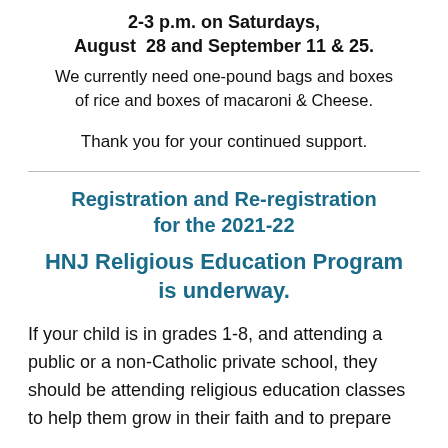2-3 p.m. on Saturdays, August 28 and September 11 & 25.
We currently need one-pound bags and boxes of rice and boxes of macaroni & Cheese.
Thank you for your continued support.
Registration and Re-registration for the 2021-22
HNJ Religious Education Program is underway.
If your child is in grades 1-8, and attending a public or a non-Catholic private school, they should be attending religious education classes to help them grow in their faith and to prepare